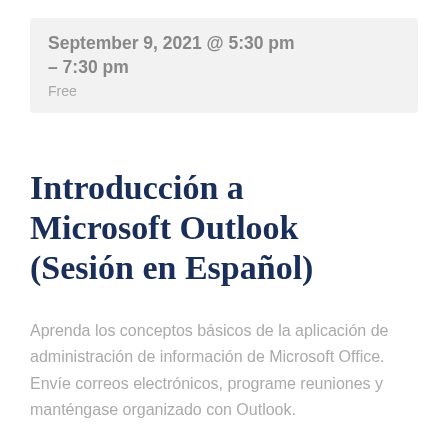September 9, 2021 @ 5:30 pm – 7:30 pm
Free
Introducción a Microsoft Outlook (Sesión en Español)
Aprenda los conceptos básicos de la aplicación de administración de información de Microsoft Office. Envíe correos electrónicos, programe reuniones y manténgase organizado con Outlook.